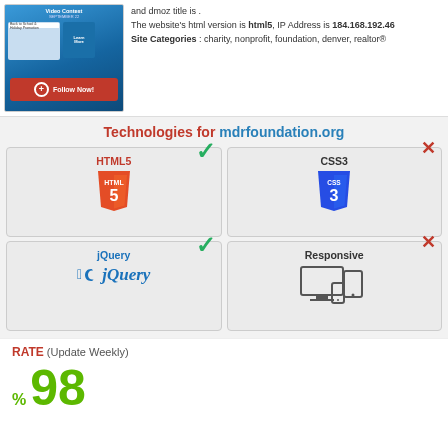[Figure (screenshot): Website screenshot showing a blue-themed site with 'Follow Now!' button in red]
and dmoz title is .
The website's html version is html5, IP Address is 184.168.192.46
Site Categories : charity, nonprofit, foundation, denver, realtor®
Technologies for mdrfoundation.org
[Figure (infographic): HTML5 technology card with green checkmark and HTML5 shield logo]
[Figure (infographic): CSS3 technology card with red cross and CSS3 shield logo]
[Figure (infographic): jQuery technology card with green checkmark and jQuery logo]
[Figure (infographic): Responsive technology card with red cross and responsive devices icon]
RATE (Update Weekly)
% 98